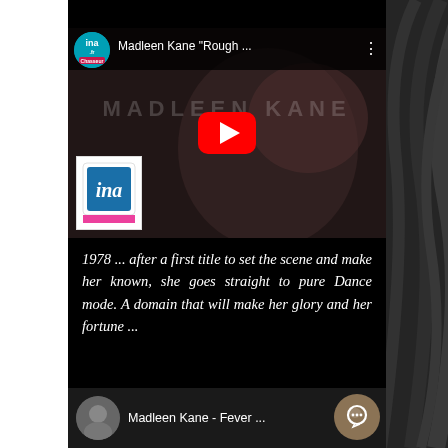[Figure (screenshot): YouTube video thumbnail showing Madleen Kane 'Rough...' with INA.fr channel avatar, YouTube play button, and INA logo watermark on a dark blurred feminine face background]
1978 ... after a first title to set the scene and make her known, she goes straight to pure Dance mode. A domain that will make her glory and her fortune ...
[Figure (screenshot): Bottom video strip showing Madleen Kane - Fever ... with a circular avatar thumbnail and a chat bubble button]